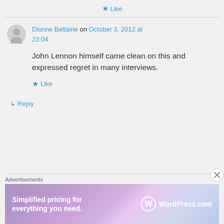Like
Dionne Beltaine on October 3, 2012 at 23:04
John Lennon himself came clean on this and expressed regret in many interviews.
Like
Reply
Advertisements
[Figure (infographic): WordPress.com advertisement banner: 'Simplified pricing for everything you need.' with WordPress.com logo on gradient purple-blue background]